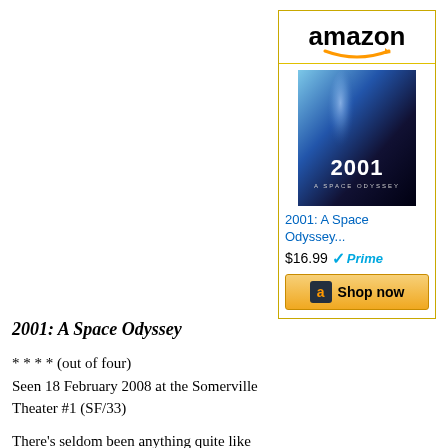2001: A Space Odyssey
[Figure (other): Amazon product listing widget with logo, 2001 A Space Odyssey Blu-ray cover image, price $16.99, Prime badge, and Shop now button]
* * * * (out of four)
Seen 18 February 2008 at the Somerville Theater #1 (SF/33)
There's seldom been anything quite like 2001, either before or since. Stanley Kubrick and Arthur C. Clarke shared both a grand vision and a mania for detail, along with the skill (and obsessiveness) necessary to actually get it on screen. I tend to gravitate toward the detail; seldom has interplanetary flight ever seemed so right, so precisely imagined and reasonably extrapolated, as it does here.
The grander story, the alien monoliths scattered throughout the solar system that guide and boost human evolution, leaves me a little colder; I tend to be pretty fond of the idea that we got where we are by hard work and taking advantage of favorable mutations. I do love how the stargate grabs the